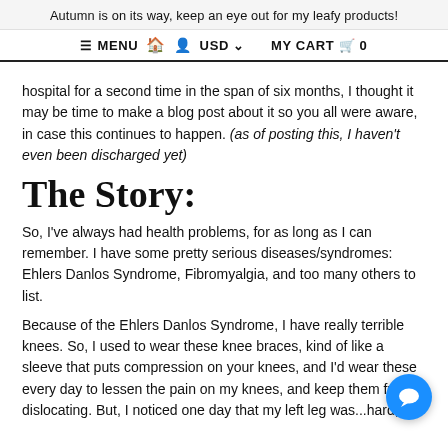Autumn is on its way, keep an eye out for my leafy products!
≡ MENU  🏠  👤  USD ∨      MY CART 🛒 0
hospital for a second time in the span of six months, I thought it may be time to make a blog post about it so you all were aware, in case this continues to happen. (as of posting this, I haven't even been discharged yet)
The Story:
So, I've always had health problems, for as long as I can remember. I have some pretty serious diseases/syndromes: Ehlers Danlos Syndrome, Fibromyalgia, and too many others to list.
Because of the Ehlers Danlos Syndrome, I have really terrible knees. So, I used to wear these knee braces, kind of like a sleeve that puts compression on your knees, and I'd wear these every day to lessen the pain on my knees, and keep them from dislocating. But, I noticed one day that my left leg was...hard, is the